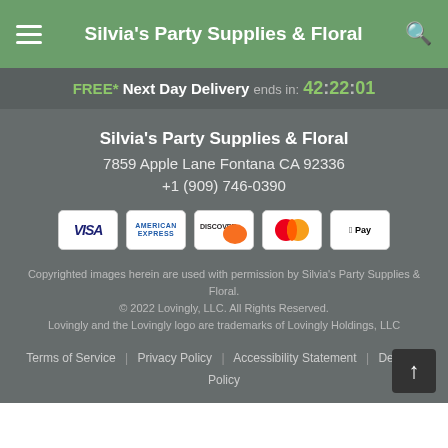Silvia's Party Supplies & Floral
FREE* Next Day Delivery ends in: 42:22:01
Silvia's Party Supplies & Floral
7859 Apple Lane Fontana CA 92336
+1 (909) 746-0390
[Figure (other): Payment method icons: VISA, American Express, Discover, Mastercard, Apple Pay]
Copyrighted images herein are used with permission by Silvia's Party Supplies & Floral.
© 2022 Lovingly, LLC. All Rights Reserved.
Lovingly and the Lovingly logo are trademarks of Lovingly Holdings, LLC
Terms of Service | Privacy Policy | Accessibility Statement | Delivery Policy